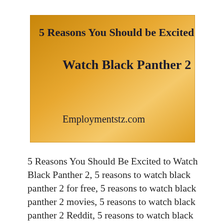[Figure (infographic): A golden/amber gradient square image with text overlay reading '5 Reasons You Should be Excited to Watch Black Panther 2' and 'Employmentstz.com' at the bottom left]
5 Reasons You Should Be Excited to Watch Black Panther 2, 5 reasons to watch black panther 2 for free, 5 reasons to watch black panther 2 movies, 5 reasons to watch black panther 2 Reddit, 5 reasons to watch black panther 2 in English, 5 reasons to watch black panther 2. Read also: Watch … Read